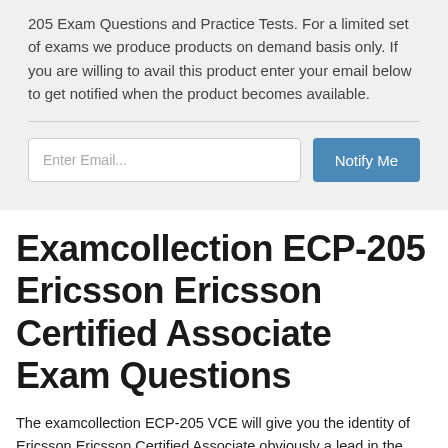205 Exam Questions and Practice Tests. For a limited set of exams we produce products on demand basis only. If you are willing to avail this product enter your email below to get notified when the product becomes available.
[Figure (screenshot): Email input field with placeholder 'Enter Email...' and a blue 'Notify Me' button]
Examcollection ECP-205 Ericsson Ericsson Certified Associate Exam Questions
The examcollection ECP-205 VCE will give you the identity of Ericsson Ericsson Certified Associate obviously a lead in the market with a highly demanded credential. However ECP-205 test requires in-depth knowledge about the syllabus contents. A technical approach towards exam information is mandatory to get a deep